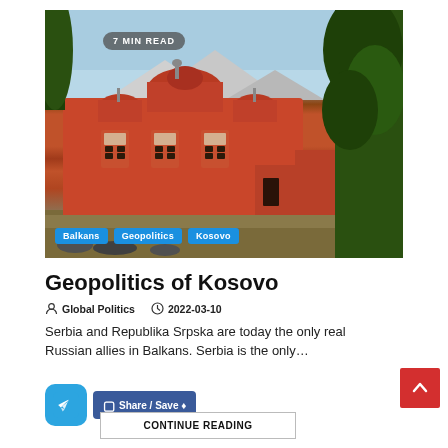[Figure (photo): A red Serbian Orthodox church building with dome roofs, surrounded by trees, with mountains in the background. Tags visible: Balkans, Geopolitics, Kosovo. Badge: 7 MIN READ.]
Geopolitics of Kosovo
Global Politics   2022-03-10
Serbia and Republika Srpska are today the only real Russian allies in Balkans. Serbia is the only…
Share / Save
CONTINUE READING